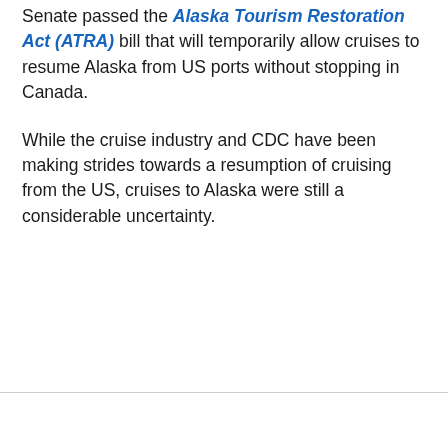Senate passed the Alaska Tourism Restoration Act (ATRA) bill that will temporarily allow cruises to resume Alaska from US ports without stopping in Canada.
While the cruise industry and CDC have been making strides towards a resumption of cruising from the US, cruises to Alaska were still a considerable uncertainty.